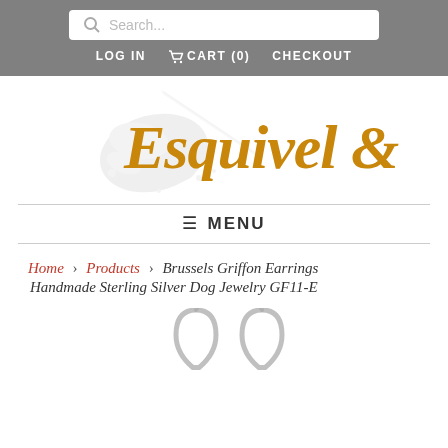Search... | LOG IN | CART (0) | CHECKOUT
[Figure (logo): Esquivel & Fees logo with paint splash and script text in gold/orange]
≡ MENU
Home › Products › Brussels Griffon Earrings Handmade Sterling Silver Dog Jewelry GF11-E
[Figure (photo): Partial view of silver earrings (lever-back style) at bottom of page]